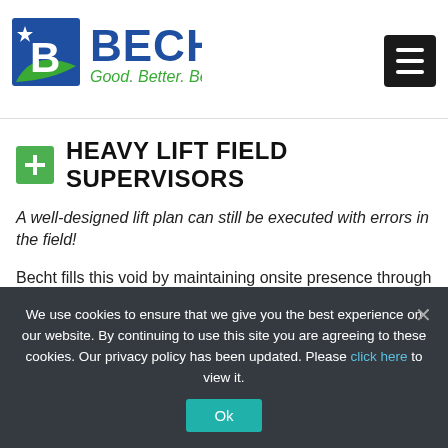[Figure (logo): Becht company logo with 'Good. Better. Becht.' tagline]
HEAVY LIFT FIELD SUPERVISORS
A well-designed lift plan can still be executed with errors in the field!
Becht fills this void by maintaining onsite presence through crane erection and lift
We use cookies to ensure that we give you the best experience on our website. By continuing to use this site you are agreeing to these cookies. Our privacy policy has been updated. Please click here to view it.